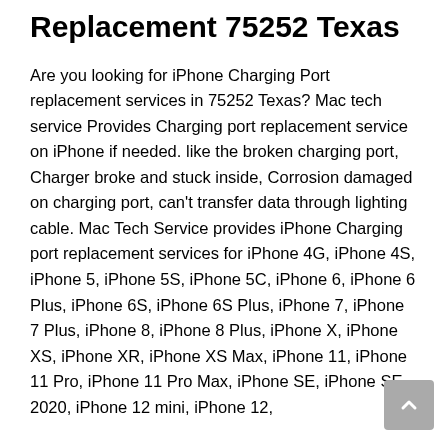Replacement 75252 Texas
Are you looking for iPhone Charging Port replacement services in 75252 Texas? Mac tech service Provides Charging port replacement service on iPhone if needed. like the broken charging port, Charger broke and stuck inside, Corrosion damaged on charging port, can't transfer data through lighting cable. Mac Tech Service provides iPhone Charging port replacement services for iPhone 4G, iPhone 4S, iPhone 5, iPhone 5S, iPhone 5C, iPhone 6, iPhone 6 Plus, iPhone 6S, iPhone 6S Plus, iPhone 7, iPhone 7 Plus, iPhone 8, iPhone 8 Plus, iPhone X, iPhone XS, iPhone XR, iPhone XS Max, iPhone 11, iPhone 11 Pro, iPhone 11 Pro Max, iPhone SE, iPhone SE 2020, iPhone 12 mini, iPhone 12,